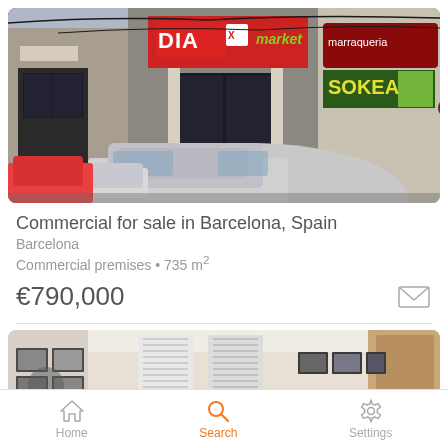[Figure (photo): Street-level photo of commercial property in Barcelona showing a DIA market store and adjacent shops with parked cars in foreground]
Commercial for sale in Barcelona, Spain
Barcelona
Commercial premises • 735 m²
€790,000
[Figure (photo): Interior photo showing a bright room with framed pictures on walls and modern furnishings]
Home   Search   Settings